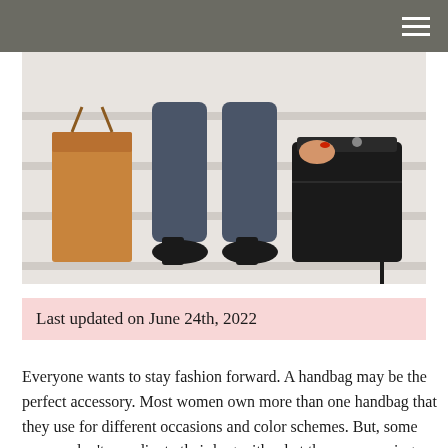[Figure (photo): A woman sitting on marble steps wearing dark jeans and black high heels, holding a black suede handbag with a tassel, with a tan/brown bag beside her.]
Last updated on June 24th, 2022
Everyone wants to stay fashion forward. A handbag may be the perfect accessory. Most women own more than one handbag that they use for different occasions and color schemes. But, some women don't coordinate their bag with what they are wearing. So,